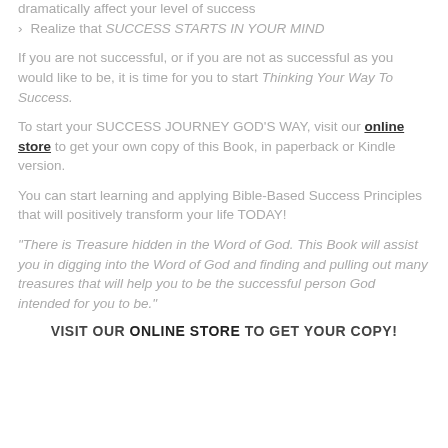dramatically affect your level of success
Realize that SUCCESS STARTS IN YOUR MIND
If you are not successful, or if you are not as successful as you would like to be, it is time for you to start Thinking Your Way To Success.
To start your SUCCESS JOURNEY GOD’S WAY, visit our online store to get your own copy of this Book, in paperback or Kindle version.
You can start learning and applying Bible-Based Success Principles that will positively transform your life TODAY!
“There is Treasure hidden in the Word of God. This Book will assist you in digging into the Word of God and finding and pulling out many treasures that will help you to be the successful person God intended for you to be.”
VISIT OUR ONLINE STORE TO GET YOUR COPY!